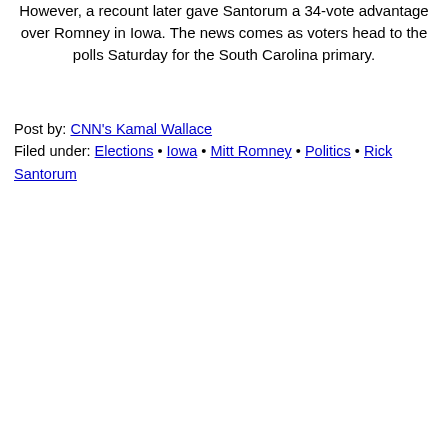However, a recount later gave Santorum a 34-vote advantage over Romney in Iowa. The news comes as voters head to the polls Saturday for the South Carolina primary.
Post by: CNN's Kamal Wallace
Filed under: Elections • Iowa • Mitt Romney • Politics • Rick Santorum